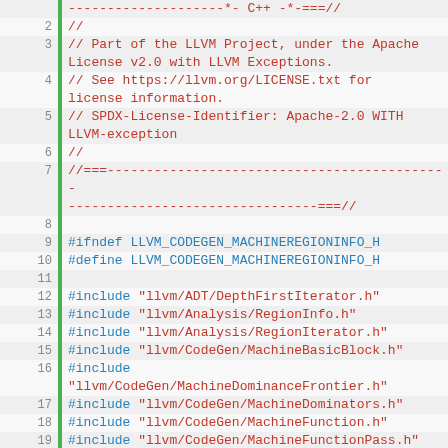[Figure (screenshot): Source code viewer showing C++ header file MachineRegionInfo.h from the LLVM project, lines 1-29, with line numbers, green gutter markers, and syntax highlighting. License header in red comments, preprocessor directives in blue, include statements in blue with red string paths, namespace and class declarations in blue/teal.]